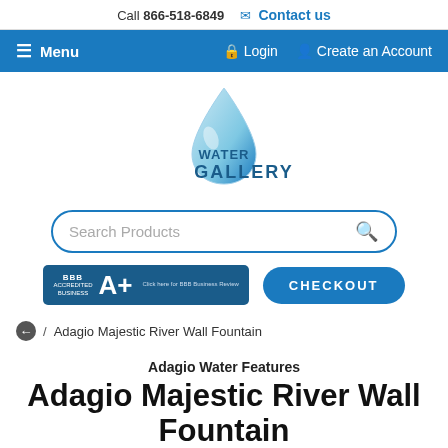Call 866-518-6849  Contact us
☰ Menu   Login   Create an Account
[Figure (logo): Water Gallery logo with water droplet graphic and text 'WATER GALLERY']
Search Products
[Figure (infographic): BBB Accredited Business A+ badge]
CHECKOUT
/ Adagio Majestic River Wall Fountain
Adagio Water Features
Adagio Majestic River Wall Fountain
$5,180.00